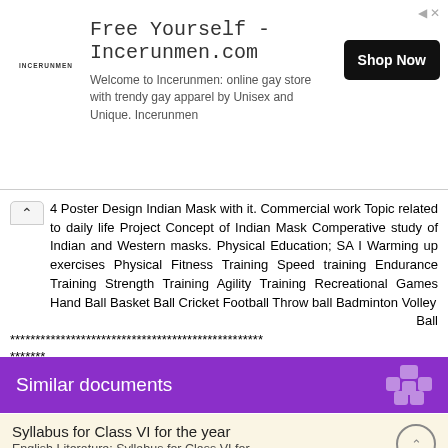[Figure (other): Advertisement banner for Incerunmen.com - Free Yourself online store]
4 Poster Design Indian Mask with it. Commercial work Topic related to daily life Project Concept of Indian Mask Comperative study of Indian and Western masks. Physical Education; SA I Warming up exercises Physical Fitness Training Speed training Endurance Training Strength Training Agility Training Recreational Games Hand Ball Basket Ball Cricket Football Throw ball Badminton Volley Ball
**************************************************
*******
Similar documents
Syllabus for Class VI for the year
English Literature: Syllabus for Class VI for...